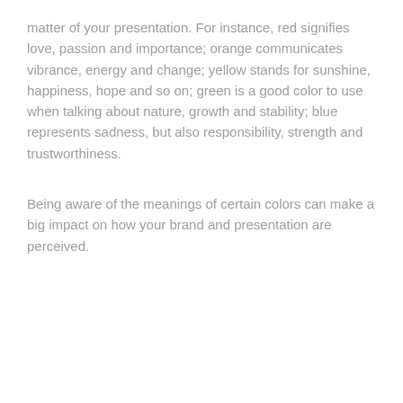matter of your presentation. For instance, red signifies love, passion and importance; orange communicates vibrance, energy and change; yellow stands for sunshine, happiness, hope and so on; green is a good color to use when talking about nature, growth and stability; blue represents sadness, but also responsibility, strength and trustworthiness.
Being aware of the meanings of certain colors can make a big impact on how your brand and presentation are perceived.